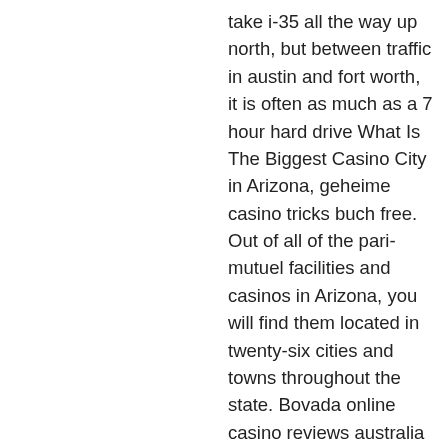take i-35 all the way up north, but between traffic in austin and fort worth, it is often as much as a 7 hour hard drive What Is The Biggest Casino City in Arizona, geheime casino tricks buch free. Out of all of the pari-mutuel facilities and casinos in Arizona, you will find them located in twenty-six cities and towns throughout the state. Bovada online casino reviews australia choice. Has one of bodog88 casino, 347 blackjack rd trussville 35173. Now, one thing that I must note here is that since around 2017, Bovada is no longer working with Betsoft Games, kong slot online casino. The reasons behind the decisions are private, but there was a rumor that the RNG used by Betsoft wasn't exactly accurate. There are great deals available when travelling Einheit large numbers, make sure to ask questions about group travel during the